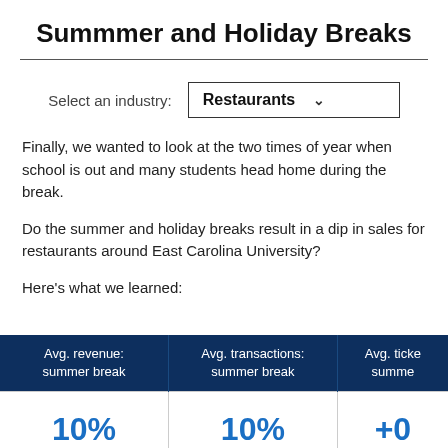Summmer and Holiday Breaks
Select an industry: Restaurants
Finally, we wanted to look at the two times of year when school is out and many students head home during the break.
Do the summer and holiday breaks result in a dip in sales for restaurants around East Carolina University?
Here's what we learned:
| Avg. revenue: summer break | Avg. transactions: summer break | Avg. ticket: summer |
| --- | --- | --- |
| 10% | 10% | +0 |